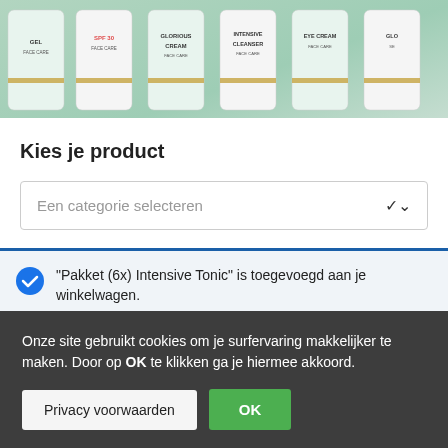[Figure (photo): Row of skincare product bottles (GEL, SPF 30, GLORIOUS CREAM, INTENSIVE CLEANSER, EYE CREAM, GLO series) with green/white bodies and gold bands, on a light green background.]
Kies je product
Een categorie selecteren
"Pakket (6x) Intensive Tonic" is toegevoegd aan je winkelwagen.
Onze site gebruikt cookies om je surfervaring makkelijker te maken. Door op OK te klikken ga je hiermee akkoord.
Privacy voorwaarden
OK